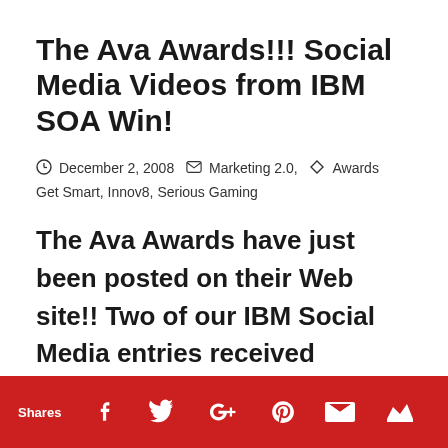The Ava Awards!!! Social Media Videos from IBM SOA Win!
December 2, 2008  Marketing 2.0,  Awards
Get Smart, Innov8, Serious Gaming
The Ava Awards have just been posted on their Web site!! Two of our IBM Social Media entries received awards!!!!
Shares  [Facebook] [Twitter] [Google+] [Pinterest] [Email] [Crown]